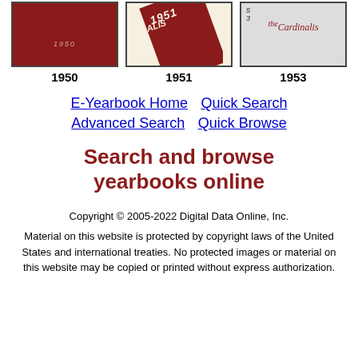[Figure (photo): Three yearbook covers: 1950 red cover, 1951 Cardinalis cover with diagonal red stripe, 1953 The Cardinalis grey cover]
1950   1951   1953
E-Yearbook Home  Quick Search  Advanced Search  Quick Browse
Search and browse yearbooks online
Copyright © 2005-2022 Digital Data Online, Inc.
Material on this website is protected by copyright laws of the United States and international treaties. No protected images or material on this website may be copied or printed without express authorization.